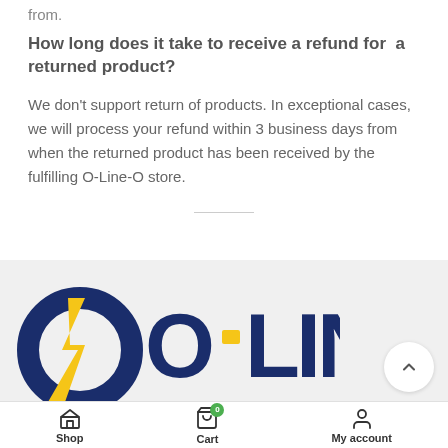from.
How long does it take to receive a refund for a returned product?
We don't support return of products. In exceptional cases, we will process your refund within 3 business days from when the returned product has been received by the fulfilling O-Line-O store.
[Figure (logo): O-Line-O logo in dark blue and yellow, partially visible at the bottom of the page]
Shop  Cart  My account